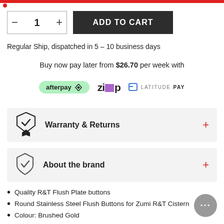[Figure (screenshot): Red navigation bar top]
[Figure (screenshot): Quantity selector with minus, 1, plus buttons and Add to Cart dark button]
Regular Ship, dispatched in 5 – 10 business days
Buy now pay later from $26.70 per week with
[Figure (logo): Afterpay, Zip, and Latitude Pay payment logos]
Warranty & Returns
About the brand
Quality R&T Flush Plate buttons
Round Stainless Steel Flush Buttons for Zumi R&T Cistern
Colour: Brushed Gold